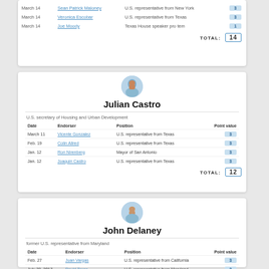| Date | Endorser | Position | Point value |
| --- | --- | --- | --- |
| March 14 | Sean Patrick Maloney | U.S. representative from New York | 3 |
| March 14 | Veronica Escobar | U.S. representative from Texas | 3 |
| March 14 | Joe Moody | Texas House speaker pro tem | 1 |
[Figure (photo): Headshot of Julian Castro]
Julian Castro
U.S. secretary of Housing and Urban Development
| Date | Endorser | Position | Point value |
| --- | --- | --- | --- |
| March 11 | Vicente Gonzalez | U.S. representative from Texas | 3 |
| Feb. 19 | Colin Allred | U.S. representative from Texas | 3 |
| Jan. 12 | Ron Nirenberg | Mayor of San Antonio | 3 |
| Jan. 12 | Joaquin Castro | U.S. representative from Texas | 3 |
[Figure (photo): Headshot of John Delaney]
John Delaney
former U.S. representative from Maryland
| Date | Endorser | Position | Point value |
| --- | --- | --- | --- |
| Feb. 27 | Juan Vargas | U.S. representative from California | 3 |
| July 28, 2017 | David Trone | U.S. representative from Maryland | 3 |